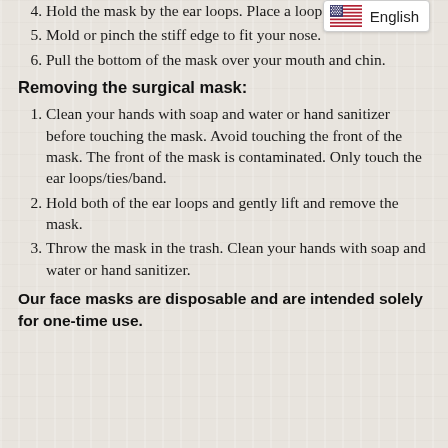4. Hold the mask by the ear loops. Place a loop around each ear.
[Figure (illustration): US flag icon with 'English' language label badge in top right corner]
5. Mold or pinch the stiff [edge/piece] to fit your nose.
6. Pull the bottom of the mask over your mouth and chin.
Removing the surgical mask:
1. Clean your hands with soap and water or hand sanitizer before touching the mask. Avoid touching the front of the mask. The front of the mask is contaminated. Only touch the ear loops/ties/band.
2. Hold both of the ear loops and gently lift and remove the mask.
3. Throw the mask in the trash. Clean your hands with soap and water or hand sanitizer.
Our face masks are disposable and are intended solely for one-time use.